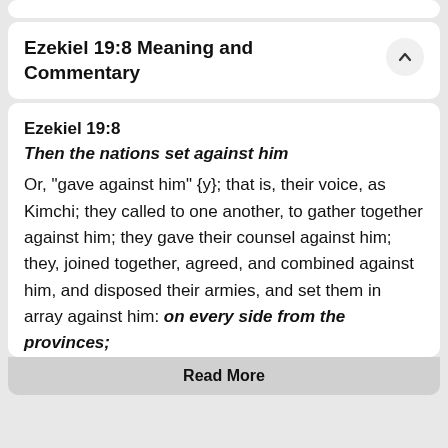Ezekiel 19:8 Meaning and Commentary
Ezekiel 19:8
Then the nations set against him
Or, "gave against him" {y}; that is, their voice, as Kimchi; they called to one another, to gather together against him; they gave their counsel against him; they, joined together, agreed, and combined against him, and disposed their armies, and set them in array against him: on every side from the provinces;
Read More